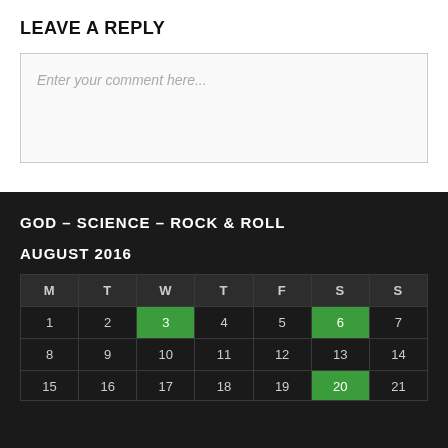LEAVE A REPLY
Enter your comment here...
GOD – SCIENCE – ROCK & ROLL
AUGUST 2016
| M | T | W | T | F | S | S |
| --- | --- | --- | --- | --- | --- | --- |
| 1 | 2 | 3 | 4 | 5 | 6 | 7 |
| 8 | 9 | 10 | 11 | 12 | 13 | 14 |
| 15 | 16 | 17 | 18 | 19 | 20 | 21 |